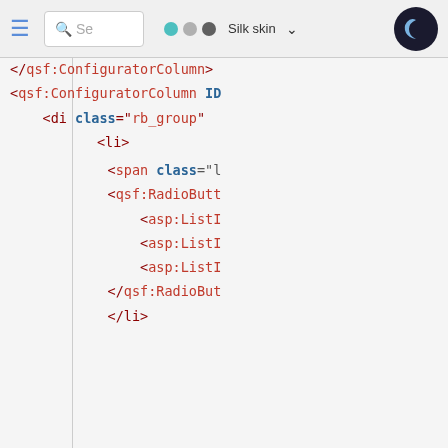[Figure (screenshot): Screenshot of a web-based XML/code editor showing XML markup with qsf:ConfiguratorColumn, qsf:RadioButton, asp:ListI tags, with a toolbar containing a search box, skin selector (Silk skin), and dark mode toggle button.]
We use cookies to personalize content and ads, to provide social media features and to analyze our traffic. Some of these cookies also help improve your user experience on our websites, assist with navigation and your ability to provide feedback, and assist with our promotional and marketing efforts. Please read our Cookie Policy for a more detailed description and click on the settings button to customize how the site uses cookies for you.
ACCEPT COOKIES
COOKIES SETTINGS